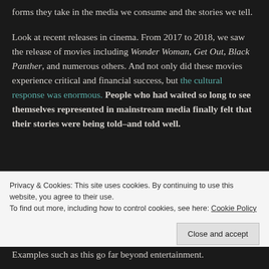forms they take in the media we consume and the stories we tell.

Look at recent releases in cinema. From 2017 to 2018, we saw the release of movies including Wonder Woman, Get Out, Black Panther, and numerous others. And not only did these movies experience critical and financial success, but the cultural response was enormous. People who had waited so long to see themselves represented in mainstream media finally felt that their stories were being told–and told well.
Privacy & Cookies: This site uses cookies. By continuing to use this website, you agree to their use.
To find out more, including how to control cookies, see here: Cookie Policy
Examples such as this go far beyond entertainment.